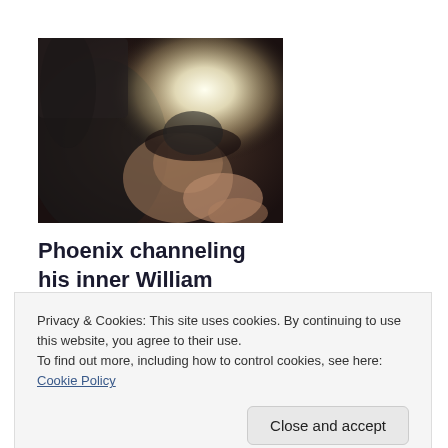[Figure (photo): A photo of a person (Phoenix) making gestures, lying back or leaning, with bright light (sunlight) in background. Image has dark tones with overexposed bright area.]
Phoenix channeling his inner William Shatner
[Figure (photo): Partial view of a second photo, mostly dark tones with a slanted light element at top.]
Privacy & Cookies: This site uses cookies. By continuing to use this website, you agree to their use.
To find out more, including how to control cookies, see here: Cookie Policy
[Figure (photo): Partial view of a third photo at bottom, dark background.]